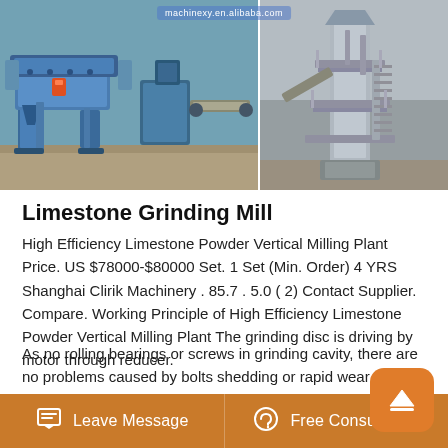[Figure (photo): Two industrial machine photos side by side: left shows a large blue vibrating screen/crusher machine; right shows a vertical milling plant installation. Watermark reads 'machinexy.en.alibaba.com'.]
Limestone Grinding Mill
High Efficiency Limestone Powder Vertical Milling Plant Price. US $78000-$80000 Set. 1 Set (Min. Order) 4 YRS Shanghai Clirik Machinery . 85.7 . 5.0 ( 2) Contact Supplier. Compare. Working Principle of High Efficiency Limestone Powder Vertical Milling Plant The grinding disc is driving by motor through reducer.
As no rolling bearings or screws in grinding cavity, there are no problems caused by bolts shedding or rapid wear of bearings and seal components. 4.High fineness, flexible adjustment. The final fineness of the grinding
Leave Message    Free Consultation